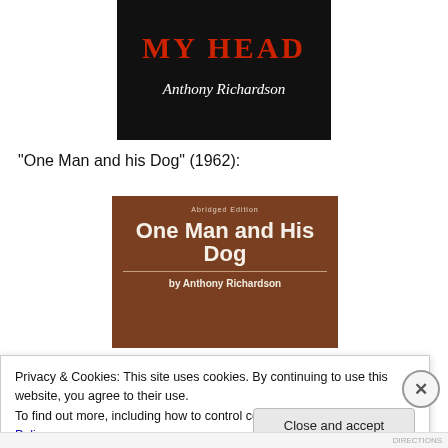[Figure (photo): Book cover with dark background showing title 'MY HEAD' in red text and 'Anthony Richardson' in white italic script]
“One Man and his Dog” (1962):
[Figure (photo): Book cover for 'One Man and His Dog' Abridged Edition by Anthony Richardson, brown background with large white bold title text]
Privacy & Cookies: This site uses cookies. By continuing to use this website, you agree to their use.
To find out more, including how to control cookies, see here: Cookie Policy
Close and accept